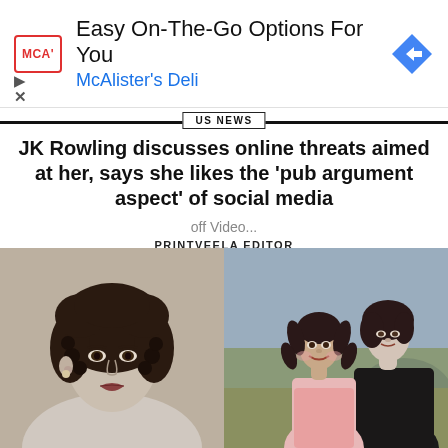[Figure (screenshot): Advertisement banner for McAlister's Deli with logo, text 'Easy On-The-Go Options For You', 'McAlister's Deli', and a blue diamond arrow icon.]
US NEWS
JK Rowling discusses online threats aimed at her, says she likes the 'pub argument aspect' of social media
off Video...
PRINTVEELA EDITOR
[Figure (photo): Two side-by-side photos: left is a black-and-white portrait of a woman with curly dark hair; right is a color photo of a young girl with pigtails and a woman in a black jacket, outdoors.]